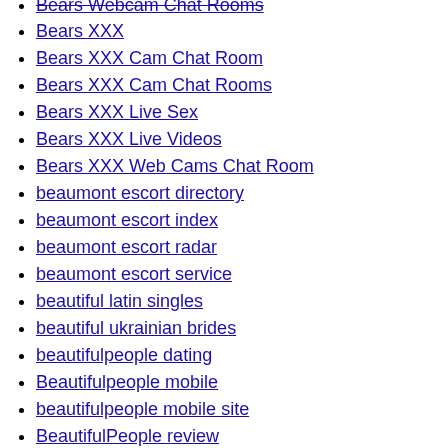Bears Webcam Chat Rooms
Bears XXX
Bears XXX Cam Chat Room
Bears XXX Cam Chat Rooms
Bears XXX Live Sex
Bears XXX Live Videos
Bears XXX Web Cams Chat Room
beaumont escort directory
beaumont escort index
beaumont escort radar
beaumont escort service
beautiful latin singles
beautiful ukrainian brides
beautifulpeople dating
Beautifulpeople mobile
beautifulpeople mobile site
BeautifulPeople review
beautifulpeople reviews
beautifulpeople search
BeautifulPeople tips
BeautifulPeople username
BeautifulPeople visitors
beetalk dating
beetalk italia
beetalk best...